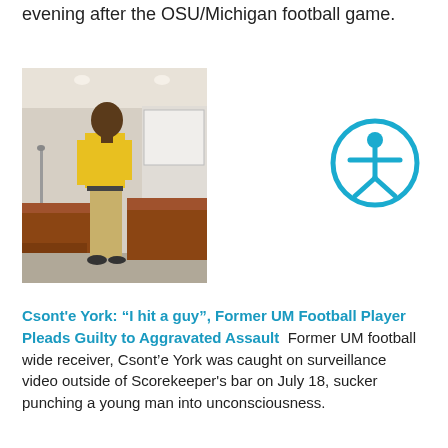evening after the OSU/Michigan football game.
[Figure (photo): A man wearing a yellow shirt and khaki pants standing in what appears to be a courtroom, viewed from the side, with wooden furniture visible.]
[Figure (other): Accessibility icon — a blue circle with a stylized person figure (arms and legs extended) inside it.]
Csont'e York: “I hit a guy”, Former UM Football Player Pleads Guilty to Aggravated Assault  Former UM football wide receiver, Csont’e York was caught on surveillance video outside of Scorekeeper's bar on July 18, sucker punching a young man into unconsciousness.